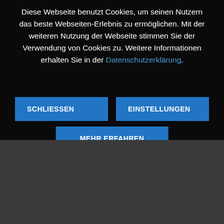Diese Webseite benutzt Cookies, um seinen Nutzern das beste Webseiten-Erlebnis zu ermöglichen. Mit der weiteren Nutzung der Webseite stimmen Sie der Verwendung von Cookies zu. Weitere Informationen erhalten Sie in der Datenschutzerklärung.
SCHLIESSEN
EINSTELLUNGEN
MEHR ERFAHREN
[Figure (other): Facebook icon button - square grey box with white Facebook 'f' logo]
[Figure (other): YouTube icon button - square grey box with white YouTube logo]
[Figure (other): Scroll-to-top circular button with dashed border and upward arrow]
HILFREICHE LINKS